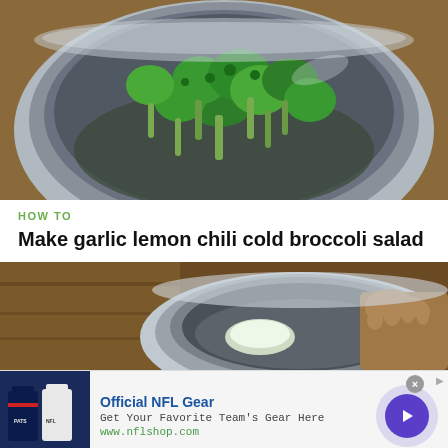[Figure (photo): Photo of broccoli florets in a stainless steel mixing bowl, taken from above, on a wooden cutting board background]
HOW TO
Make garlic lemon chili cold broccoli salad
[Figure (photo): Close-up video screenshot of hands squeezing or preparing ingredients in a bowl with garlic, on a wooden surface]
[Figure (other): Advertisement banner: Official NFL Gear - Get Your Favorite Team's Gear Here - www.nflshop.com, with NFL jerseys image and arrow button]